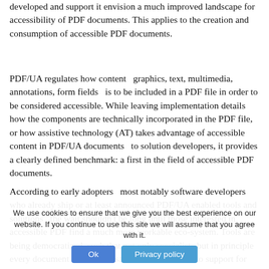developed and support it envision a much improved landscape for accessibility of PDF documents. This applies to the creation and consumption of accessible PDF documents.
PDF/UA regulates how content – graphics, text, multimedia, annotations, form fields – is to be included in a PDF file in order to be considered accessible. While leaving implementation details – how the components are technically incorporated in the PDF file, or how assistive technology (AT) takes advantage of accessible content in PDF/UA documents – to solution developers, it provides a clearly defined benchmark: a first in the field of accessible PDF documents.
According to early adopters – most notably software developers who already ship or at least announced PDF/UA enabled tools and solutions – the wait shouldn’t be long until those interested in accessible PDF find a much more workable eco-system. Tools are being democratized, such that not only specialists but in principle every document creator can save their documents to ... support for accessible PDF in ... NVDA screen reader on the background of PDF/UA, for example access to complex tables.
We use cookies to ensure that we give you the best experience on our website. If you continue to use this site we will assume that you agree with it.